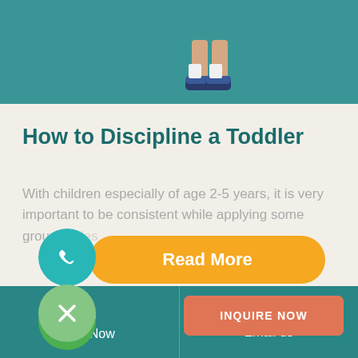[Figure (photo): Top portion showing a child's feet/shoes on a teal/aqua colored floor background]
How to Discipline a Toddler
With children especially of age 2-5 years, it is very important to be consistent while applying some ground ru...
[Figure (illustration): WhatsApp circular green button icon]
[Figure (illustration): Phone/call circular teal button icon]
[Figure (illustration): Close/X circular light green button]
[Figure (illustration): Read More orange pill-shaped button]
[Figure (illustration): INQUIRE NOW orange-red button]
Call Now   Email us